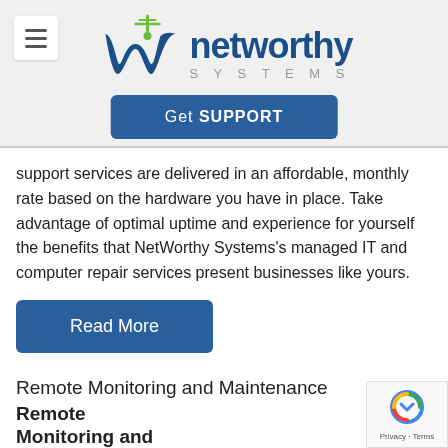[Figure (logo): NetWorthy Systems logo with stylized blue 'w' icon and green antenna, company name in blue with 'SYSTEMS' in gray spaced lettering]
Get SUPPORT
support services are delivered in an affordable, monthly rate based on the hardware you have in place. Take advantage of optimal uptime and experience for yourself the benefits that NetWorthy Systems's managed IT and computer repair services present businesses like yours.
Read More
Remote Monitoring and Maintenance
Remote
Monitoring and